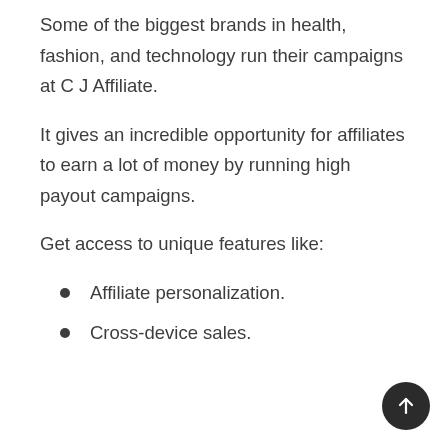Some of the biggest brands in health, fashion, and technology run their campaigns at C J Affiliate.
It gives an incredible opportunity for affiliates to earn a lot of money by running high payout campaigns.
Get access to unique features like:
Affiliate personalization.
Cross-device sales.